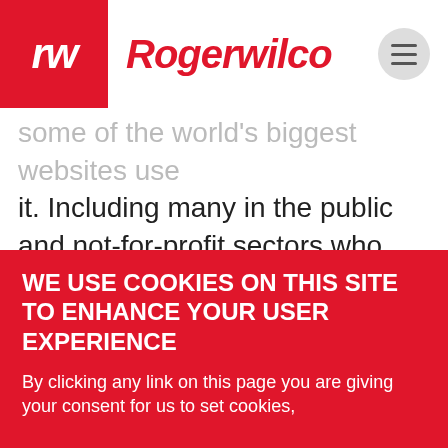rw Rogerwilco
some of the world's biggest websites use it. Including many in the public and not-for-profit sectors who favour it because it's open source – which means there are no license fees.
And there's a community of tens of
WE USE COOKIES ON THIS SITE TO ENHANCE YOUR USER EXPERIENCE
By clicking any link on this page you are giving your consent for us to set cookies,